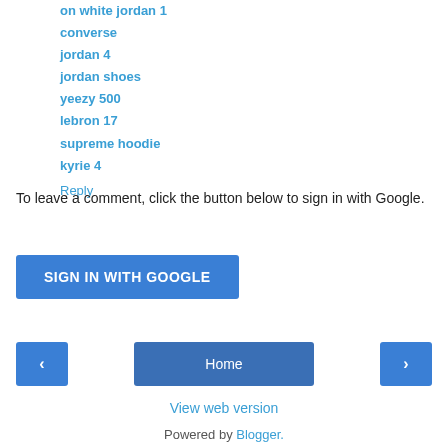on white jordan 1
converse
jordan 4
jordan shoes
yeezy 500
lebron 17
supreme hoodie
kyrie 4
Reply
To leave a comment, click the button below to sign in with Google.
SIGN IN WITH GOOGLE
Home
View web version
Powered by Blogger.